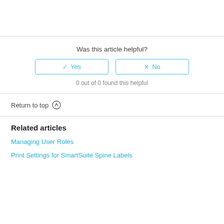Was this article helpful?
0 out of 0 found this helpful
Return to top
Related articles
Managing User Roles
Print Settings for SmartSuite Spine Labels